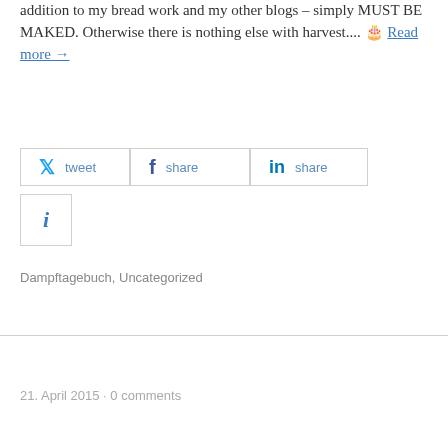addition to my bread work and my other blogs – simply MUST BE MAKED. Otherwise there is nothing else with harvest.... 🍞 Read more →
[Figure (infographic): Social sharing buttons: Twitter (tweet), Facebook (share), LinkedIn (share), and an info button]
Dampftagebuch, Uncategorized
21. April 2015 · 0 comments